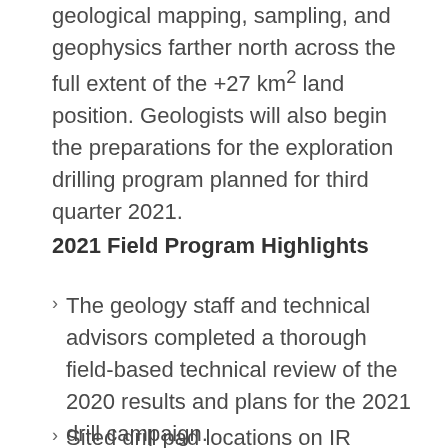geological mapping, sampling, and geophysics farther north across the full extent of the +27 km² land position. Geologists will also begin the preparations for the exploration drilling program planned for third quarter 2021.
2021 Field Program Highlights
The geology staff and technical advisors completed a thorough field-based technical review of the 2020 results and plans for the 2021 drill campaign.
Sited drill pad locations on IR...